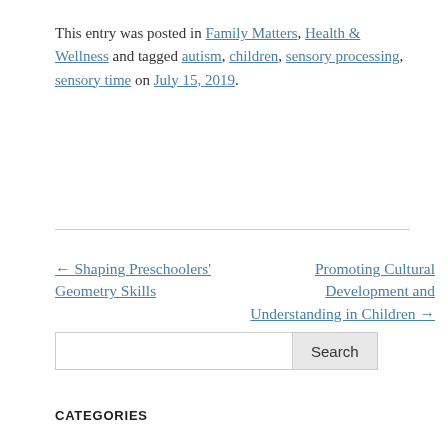This entry was posted in Family Matters, Health & Wellness and tagged autism, children, sensory processing, sensory time on July 15, 2019.
← Shaping Preschoolers' Geometry Skills
Promoting Cultural Development and Understanding in Children →
Search
CATEGORIES